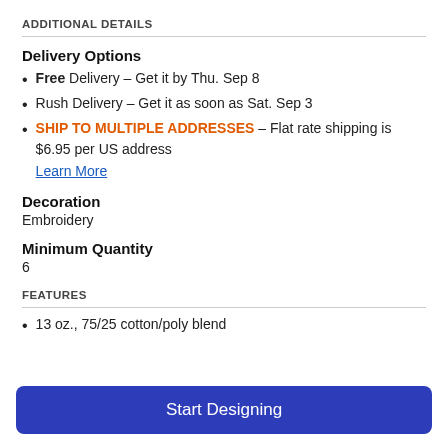ADDITIONAL DETAILS
Delivery Options
Free Delivery – Get it by Thu. Sep 8
Rush Delivery – Get it as soon as Sat. Sep 3
SHIP TO MULTIPLE ADDRESSES – Flat rate shipping is $6.95 per US address
Learn More
Decoration
Embroidery
Minimum Quantity
6
FEATURES
13 oz., 75/25 cotton/poly blend
Start Designing